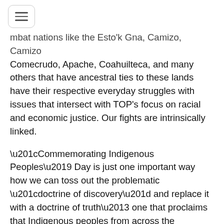≡
mbat nations like the Esto'k Gna, Camizo, Camizo Comecrudo, Apache, Coahuilteca, and many others that have ancestral ties to these lands have their respective everyday struggles with issues that intersect with TOP's focus on racial and economic justice. Our fights are intrinsically linked.
“Commemorating Indigenous Peoples’ Day is just one important way how we can toss out the problematic “doctrine of discovery” and replace it with a doctrine of truth– one that proclaims that Indigenous peoples from across the hemisphere are very much alive today and declares our full rights to sovereignty, self-determination, and dignity.”
###